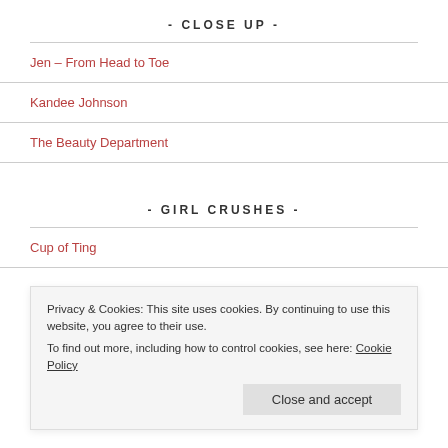- CLOSE UP -
Jen – From Head to Toe
Kandee Johnson
The Beauty Department
- GIRL CRUSHES -
Cup of Ting
Privacy & Cookies: This site uses cookies. By continuing to use this website, you agree to their use.
To find out more, including how to control cookies, see here: Cookie Policy
Close and accept